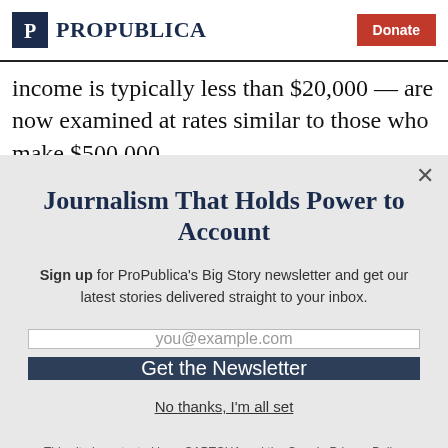ProPublica — Donate
income is typically less than $20,000 — are now examined at rates similar to those who make $500,000
Journalism That Holds Power to Account
Sign up for ProPublica's Big Story newsletter and get our latest stories delivered straight to your inbox.
you@example.com
Get the Newsletter
No thanks, I'm all set
This site is protected by reCAPTCHA and the Google Privacy Policy and Terms of Service apply.